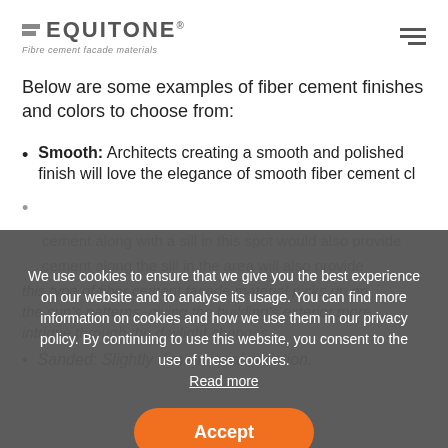EQUITONE® Fibre cement facade materials
Below are some examples of fiber cement finishes and colors to choose from:
Smooth: Architects creating a smooth and polished finish will love the elegance of smooth fiber cement cl...
(partially visible — second bullet)
(partially visible — third bullet about cement along with and picks up on the sun's patterns, giving the building's exterior more intrigue through light changes.)
Sanded: Slightly dimensional variation.
We use cookies to ensure that we give you the best experience on our website and to analyse its usage. You can find more information on cookies and how we use them in our privacy policy. By continuing to use this website, you consent to the use of these cookies.
Read more
Accept